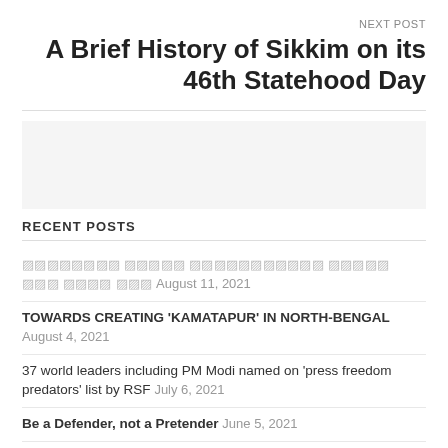NEXT POST
A Brief History of Sikkim on its 46th Statehood Day
RECENT POSTS
[garbled text] August 11, 2021
TOWARDS CREATING ‘KAMATAPUR’ IN NORTH-BENGAL August 4, 2021
37 world leaders including PM Modi named on ‘press freedom predators’ list by RSF July 6, 2021
Be a Defender, not a Pretender June 5, 2021
85% of Koch-Rajbongshi population of Assam will remain